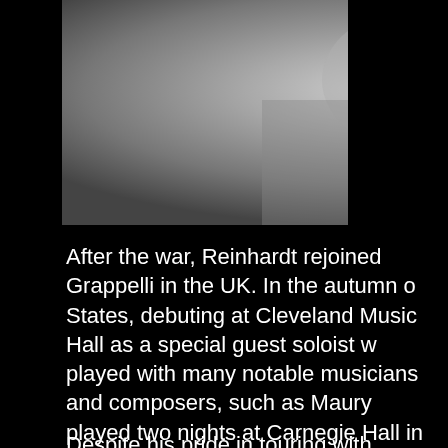[Figure (photo): Black and white photograph of a man, partially visible, appears to be Django Reinhardt playing or near a guitar]
After the war, Reinhardt rejoined Grappelli in the UK. In the autumn of States, debuting at Cleveland Music Hall as a special guest soloist w played with many notable musicians and composers, such as Maury played two nights at Carnegie Hall in New York City; he received a g first night.
Despite his pride in touring with Ellington (one of two letters to Grapp integrated into the band. He played a few tunes at the end of the sho arrangements written for him. After the tour, Reinhardt secured an er he played four solos a day, backed by the resident band. These perf failed to bring his usual Selmer Modèle Jazz, he played on a borrow the delicacy of his style. He had been promised jobs in California, bu Reinhardt returned to France in February 1947.
After his return, Reinhardt re-immersed himself in Gypsy life, finding